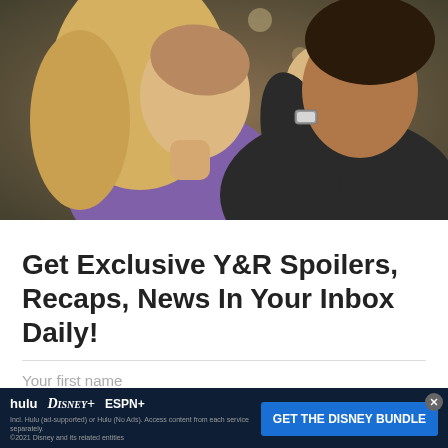[Figure (photo): A man and woman facing each other closely, appearing to embrace or dance. The woman has long blonde hair and wears a purple top. The man wears a dark t-shirt and a watch. Bokeh lights visible in background suggesting holiday/festive setting.]
Get Exclusive Y&R Spoilers, Recaps, News In Your Inbox Daily!
Your first name
Your email address
[Figure (screenshot): Advertisement banner for Disney Bundle featuring Hulu, Disney+, and ESPN+ logos with blue CTA button saying GET THE DISNEY BUNDLE. Small text: Incl. Hulu (ad-supported) or Hulu (No Ads). Access content from each service separately. ©2021 Disney and its related entities]